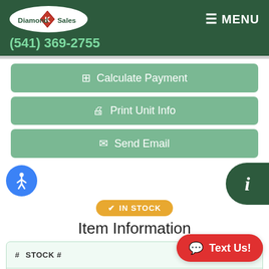Diamond K Sales — (541) 369-2755 — MENU
Calculate Payment
Print Unit Info
Send Email
IN STOCK
Item Information
| Field | Value |
| --- | --- |
| # STOCK # | F004728 |
| YEAR |  |
|  | Diamond K |